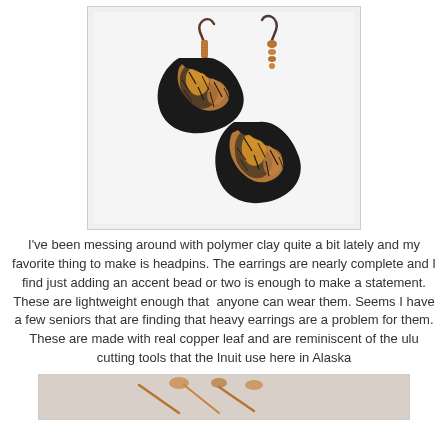[Figure (photo): Two fan-shaped earrings made with black polymer clay and real copper leaf, creating a crackled gold-on-black texture. They hang from copper wire earring hooks with small copper accent beads.]
I've been messing around with polymer clay quite a bit lately and my favorite thing to make is headpins. The earrings are nearly complete and I find just adding an accent bead or two is enough to make a statement.
These are lightweight enough that  anyone can wear them. Seems I have a few seniors that are finding that heavy earrings are a problem for them.
These are made with real copper leaf and are reminiscent of the ulu cutting tools that the Inuit use here in Alaska
[Figure (photo): Partial bottom image showing what appears to be copper tools or jewelry pieces on a light background.]